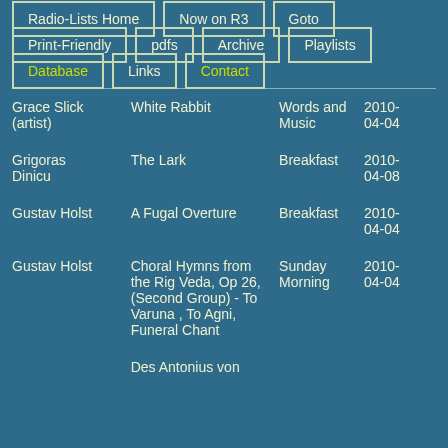Radio-Lists Home
Now on R3
Goto
Print-Friendly
pdfs
Archive
Playlists
Database
Links
Contact
| Artist | Title | Show | Date |
| --- | --- | --- | --- |
| Grace Slick (artist) | White Rabbit | Words and Music | 2010-04-04 |
| Grigoras Dinicu | The Lark | Breakfast | 2010-04-08 |
| Gustav Holst | A Fugal Overture | Breakfast | 2010-04-04 |
| Gustav Holst | Choral Hymns from the Rig Veda, Op 26, (Second Group) - To Varuna , To Agni, Funeral Chant | Sunday Morning | 2010-04-04 |
|  | Des Antonius von Padua Fischpredigt |  |  |